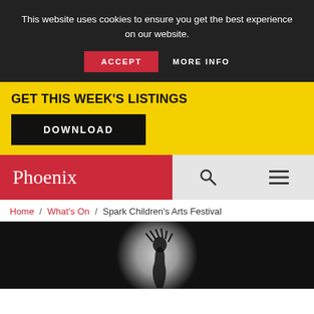This website uses cookies to ensure you get the best experience on our website.
ACCEPT   MORE INFO
GET THIS WEEK'S LISTINGS
DOWNLOAD
[Figure (logo): Phoenix logo on red background with search and hamburger menu icons]
Home / What's On / Spark Children's Arts Festival
[Figure (photo): Dark performance photo with circular spotlight and abstract figure silhouette with spiky/bristly elements]